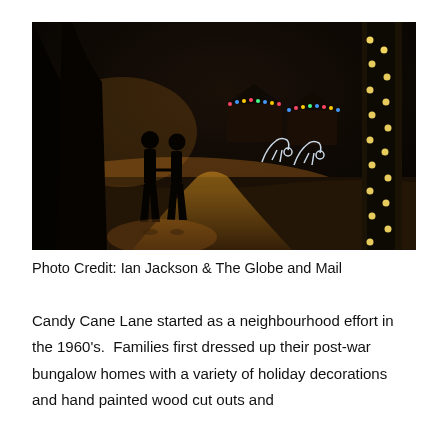[Figure (photo): Night scene of a snowy street (Candy Cane Lane) lined with Christmas lights. Two silhouetted figures walk hand-in-hand toward glowing holiday decorations including light-up reindeer, colourful house lights, and a tree trunk wrapped with warm yellow lights in the foreground.]
Photo Credit: Ian Jackson & The Globe and Mail
Candy Cane Lane started as a neighbourhood effort in the 1960's. Families first dressed up their post-war bungalow homes with a variety of holiday decorations and hand painted wood cut outs and